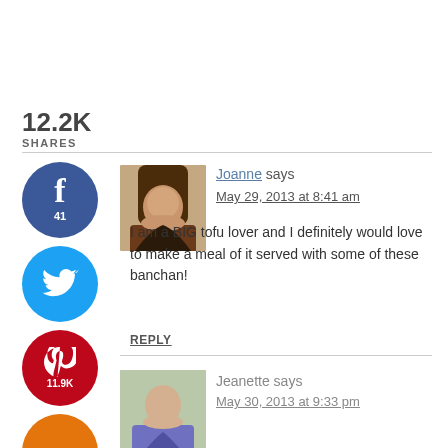12.2K SHARES
[Figure (infographic): Social share buttons: Facebook (41), Twitter, Pinterest (11.9K), Yummly]
[Figure (photo): Avatar photo of commenter Joanne]
Joanne says
May 29, 2013 at 8:41 am
I am a BIG tofu lover and I definitely would love to make a meal of it served with some of these banchan!
REPLY
[Figure (photo): Avatar photo of commenter Jeanette]
Jeanette says
May 30, 2013 at 9:33 pm